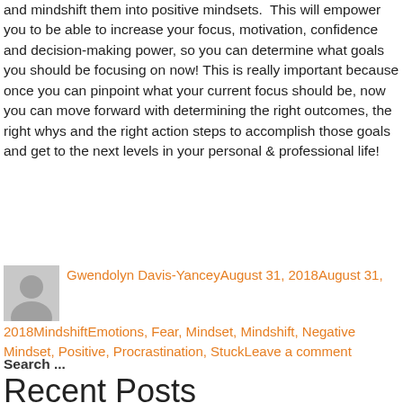and mindshift them into positive mindsets.  This will empower you to be able to increase your focus, motivation, confidence and decision-making power, so you can determine what goals you should be focusing on now! This is really important because once you can pinpoint what your current focus should be, now you can move forward with determining the right outcomes, the right whys and the right action steps to accomplish those goals and get to the next levels in your personal & professional life!
[Figure (illustration): Gray user avatar silhouette icon]
Gwendolyn Davis-YanceyAugust 31, 2018August 31, 2018MindshiftEmotions, Fear, Mindset, Mindshift, Negative Mindset, Positive, Procrastination, StuckLeave a comment
Search ...
Recent Posts